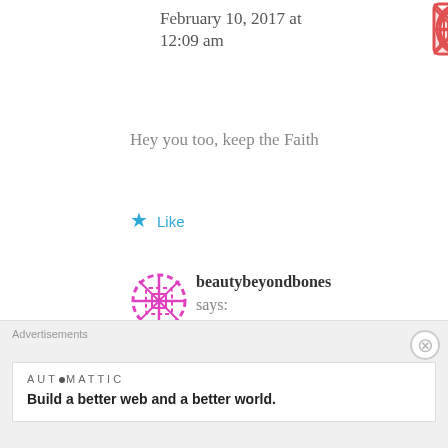[Figure (illustration): Decorative avatar icon for first commenter, pink/red crosshatch pattern]
February 10, 2017 at 12:09 am
Hey you too, keep the Faith
★ Like
[Figure (illustration): Avatar icon for beautybeyondbones, pink dashed circle pattern]
beautybeyondbones says: February 10, 2017 at 12:30 am
yes!! 🙂 xox
★ Like
[Figure (illustration): Avatar icon for Courage for the Challenger, teal crosshatch pattern]
Courage for the Challenger says: February 2, 2017 at 8:29 pm
Advertisements
AUTOMATTIC
Build a better web and a better world.